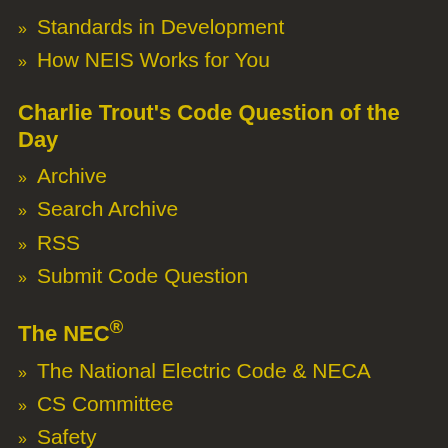Standards in Development
How NEIS Works for You
Charlie Trout's Code Question of the Day
Archive
Search Archive
RSS
Submit Code Question
The NEC®
The National Electric Code & NECA
CS Committee
Safety
NEIS Partners
Contractors' Code Letter
US Electrical Codes and Regulations by State
Education